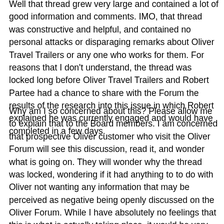Well that thread grew very large and contained a lot of good information and comments. IMO, that thread was constructive and helpful, and contained no personal attacks or disparaging remarks about Oliver Travel Trailers or any one who works for them. For reasons that I don't understand, the thread was locked long before Oliver Travel Trailers and Robert Partee had a chance to share with the Forum the results of the research into this issue in which Robert explained he was currently engaged and would have completed in a few days.
Why am I so concerned about this? Please allow me to explain that to the Board members. I am concerned that prospective Oliver customer who visit the Oliver Forum will see this discussion, read it, and wonder what is going on. They will wonder why the thread was locked, wondering if it had anything to to do with Oliver not wanting any information that may be perceived as negative being openly discussed on the Oliver Forum. While I have absolutely no feelings that this is what is actually taking place, it would be very easy and logical for a prospective Oliver purchaser who reads this locked thread to entertain this possibility and decide they want nothing to do with Oliver Travel Trailers. I don't want that to happen. I think the